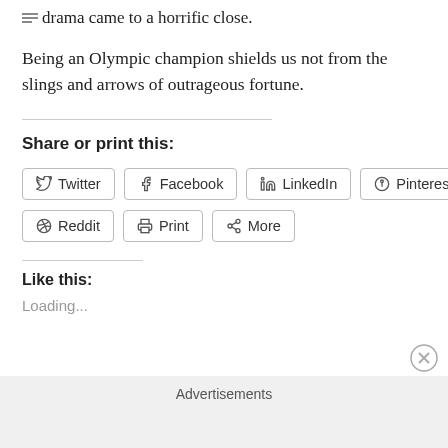drama came to a horrific close.
Being an Olympic champion shields us not from the slings and arrows of outrageous fortune.
Share or print this:
Twitter Facebook LinkedIn Pinterest Reddit Print More
Like this:
Loading...
Advertisements